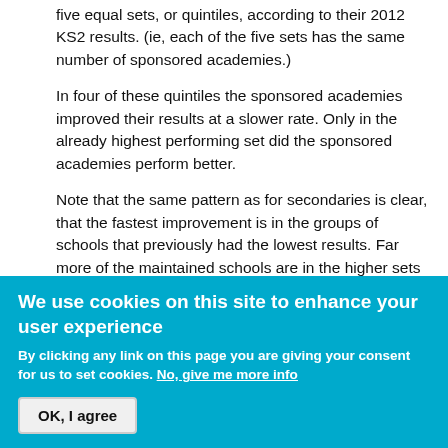five equal sets, or quintiles, according to their 2012 KS2 results. (ie, each of the five sets has the same number of sponsored academies.)
In four of these quintiles the sponsored academies improved their results at a slower rate. Only in the already highest performing set did the sponsored academies perform better.
Note that the same pattern as for secondaries is clear, that the fastest improvement is in the groups of schools that previously had the lowest results. Far more of the maintained schools are in the higher sets and so, if sponsored academies are compared to all schools and not to similar schools, they will appear to
We use cookies on this site to enhance your user experience
By clicking any link on this page you are giving your consent for us to set cookies. No, give me more info
OK, I agree